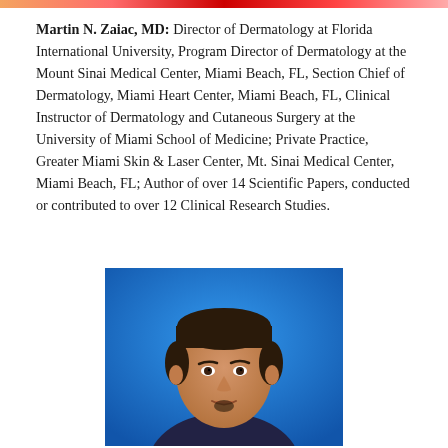Martin N. Zaiac, MD: Director of Dermatology at Florida International University, Program Director of Dermatology at the Mount Sinai Medical Center, Miami Beach, FL, Section Chief of Dermatology, Miami Heart Center, Miami Beach, FL, Clinical Instructor of Dermatology and Cutaneous Surgery at the University of Miami School of Medicine; Private Practice, Greater Miami Skin & Laser Center, Mt. Sinai Medical Center, Miami Beach, FL; Author of over 14 Scientific Papers, conducted or contributed to over 12 Clinical Research Studies.
[Figure (photo): Professional headshot of Martin N. Zaiac, MD, a middle-aged man with short dark hair, against a blue background]